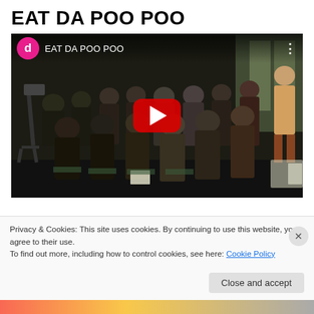EAT DA POO POO
[Figure (screenshot): YouTube video thumbnail showing a room full of people seated in chairs, with a speaker standing. The video is titled 'EAT DA POO POO'. A large red YouTube play button is centered on the thumbnail. Top-left shows a pink circle with 'd' icon and the video title text.]
Privacy & Cookies: This site uses cookies. By continuing to use this website, you agree to their use.
To find out more, including how to control cookies, see here: Cookie Policy
Close and accept